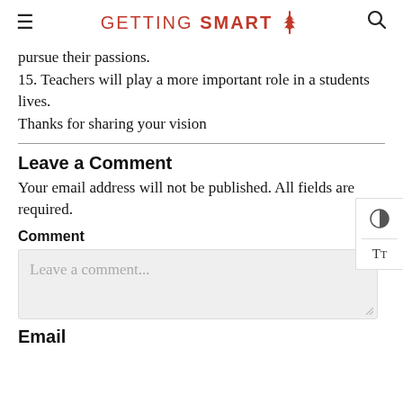GETTING SMART
pursue their passions.
15. Teachers will play a more important role in a students lives.
Thanks for sharing your vision
Leave a Comment
Your email address will not be published. All fields are required.
Comment
Leave a comment...
Email